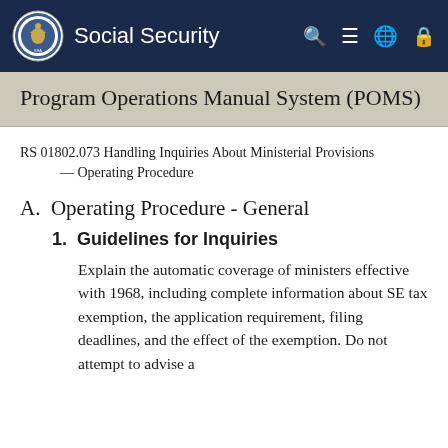Social Security
Program Operations Manual System (POMS)
RS 01802.073 Handling Inquiries About Ministerial Provisions — Operating Procedure
A.  Operating Procedure - General
1.  Guidelines for Inquiries
Explain the automatic coverage of ministers effective with 1968, including complete information about SE tax exemption, the application requirement, filing deadlines, and the effect of the exemption. Do not attempt to advise a